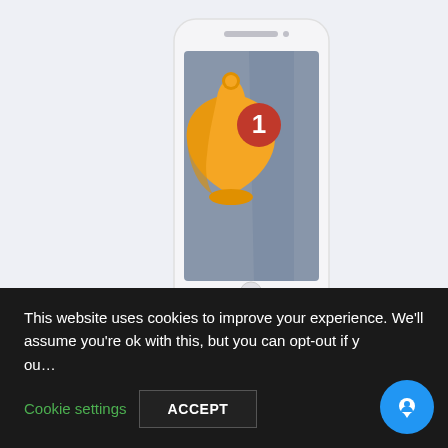[Figure (illustration): Isometric illustration of a smartphone with a yellow notification bell icon showing a red badge with the number 1, displayed on a gray-blue screen against a light gray-blue background.]
This website uses cookies to improve your experience. We'll assume you're ok with this, but you can opt-out if you wish.
Cookie settings
ACCEPT